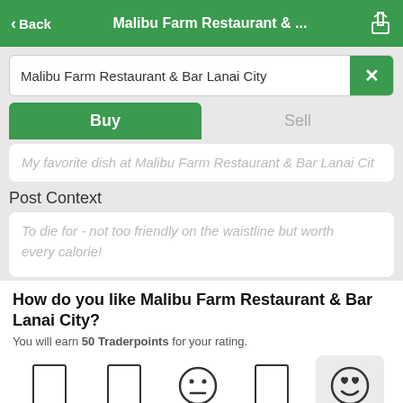< Back  Malibu Farm Restaurant & ...
Malibu Farm Restaurant & Bar Lanai City
Buy | Sell
My favorite dish at Malibu Farm Restaurant & Bar Lanai Cit
Post Context
To die for - not too friendly on the waistline but worth every calorie!
How do you like Malibu Farm Restaurant & Bar Lanai City?
You will earn 50 Traderpoints for your rating.
[Figure (illustration): Five emoji rating icons in a row: two empty rectangles, a neutral face emoji, an empty rectangle, and a heart-eyes smiley face (selected/highlighted).]